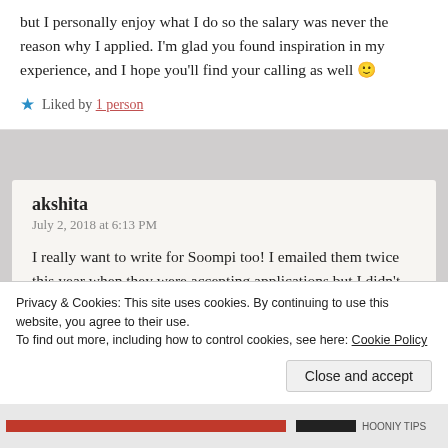but I personally enjoy what I do so the salary was never the reason why I applied. I'm glad you found inspiration in my experience, and I hope you'll find your calling as well 🙂
★ Liked by 1 person
akshita
July 2, 2018 at 6:13 PM
I really want to write for Soompi too! I emailed them twice this year when they were accepting applications but I didn't hear from them! I've written in the Community section thrice and they have been
Advertisements
Privacy & Cookies: This site uses cookies. By continuing to use this website, you agree to their use.
To find out more, including how to control cookies, see here: Cookie Policy
Close and accept